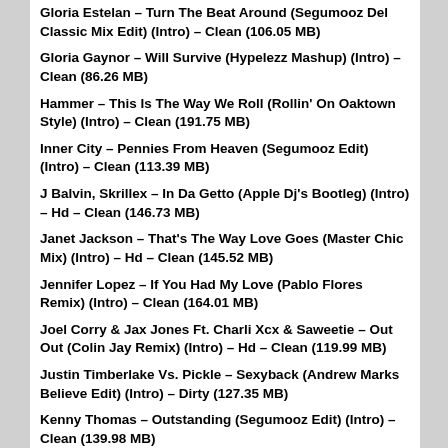Gloria Estelan – Turn The Beat Around (Segumooz Del Classic Mix Edit) (Intro) – Clean (106.05 MB)
Gloria Gaynor – Will Survive (Hypelezz Mashup) (Intro) – Clean (86.26 MB)
Hammer – This Is The Way We Roll (Rollin' On Oaktown Style) (Intro) – Clean (191.75 MB)
Inner City – Pennies From Heaven (Segumooz Edit) (Intro) – Clean (113.39 MB)
J Balvin, Skrillex – In Da Getto (Apple Dj's Bootleg) (Intro) – Hd – Clean (146.73 MB)
Janet Jackson – That's The Way Love Goes (Master Chic Mix) (Intro) – Hd – Clean (145.52 MB)
Jennifer Lopez – If You Had My Love (Pablo Flores Remix) (Intro) – Clean (164.01 MB)
Joel Corry & Jax Jones Ft. Charli Xcx & Saweetie – Out Out (Colin Jay Remix) (Intro) – Hd – Clean (119.99 MB)
Justin Timberlake Vs. Pickle – Sexyback (Andrew Marks Believe Edit) (Intro) – Dirty (127.35 MB)
Kenny Thomas – Outstanding (Segumooz Edit) (Intro) – Clean (139.98 MB)